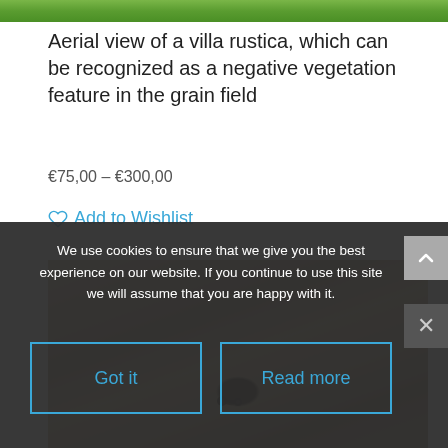[Figure (photo): Green crop field aerial view, top strip]
Aerial view of a villa rustica, which can be recognized as a negative vegetation feature in the grain field
€75,00 – €300,00
Add to Wishlist
[Figure (photo): Aerial view of a brown agricultural field with a tractor or vehicle visible]
We use cookies to ensure that we give you the best experience on our website. If you continue to use this site we will assume that you are happy with it.
Got it
Read more